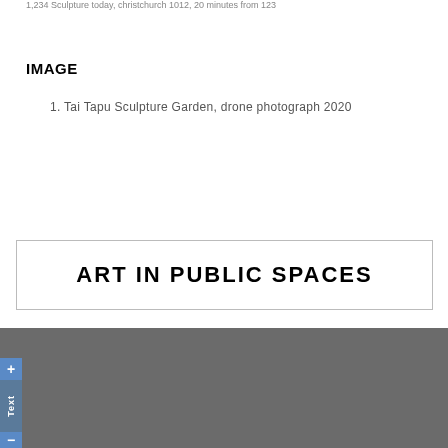1,234 Sculpture today, christchurch 1012, 20 minutes from 123
IMAGE
1. Tai Tapu Sculpture Garden, drone photograph 2020
ART IN PUBLIC SPACES
© ArtBeat. All Rights Reserved.